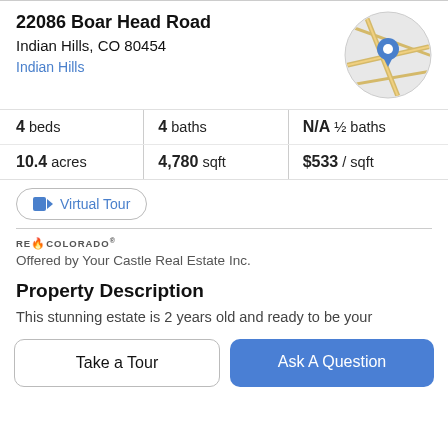22086 Boar Head Road
Indian Hills, CO 80454
Indian Hills
[Figure (map): Circular map thumbnail with a blue location pin marker]
4 beds | 4 baths | N/A ½ baths | 10.4 acres | 4,780 sqft | $533 / sqft
Virtual Tour
RE/COLORADO
Offered by Your Castle Real Estate Inc.
Property Description
This stunning estate is 2 years old and ready to be your
Take a Tour
Ask A Question